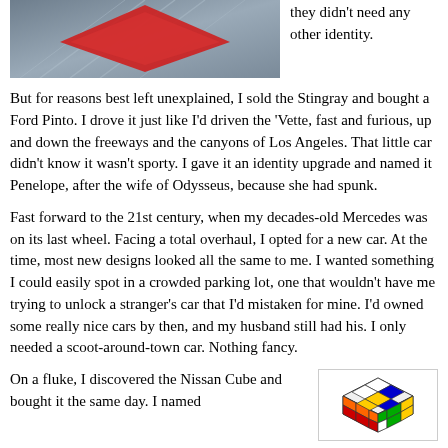[Figure (photo): A red chevron/diamond shape over a blurred road/highway background, partial image at top]
they didn't need any other identity.
But for reasons best left unexplained, I sold the Stingray and bought a Ford Pinto. I drove it just like I'd driven the 'Vette, fast and furious, up and down the freeways and the canyons of Los Angeles. That little car didn't know it wasn't sporty. I gave it an identity upgrade and named it Penelope, after the wife of Odysseus, because she had spunk.
Fast forward to the 21st century, when my decades-old Mercedes was on its last wheel. Facing a total overhaul, I opted for a new car. At the time, most new designs looked all the same to me. I wanted something I could easily spot in a crowded parking lot, one that wouldn't have me trying to unlock a stranger's car that I'd mistaken for mine. I'd owned some really nice cars by then, and my husband still had his. I only needed a scoot-around-town car. Nothing fancy.
On a fluke, I discovered the Nissan Cube and bought it the same day. I named it Penelope, after the name of the
[Figure (photo): A Rubik's cube with colorful squares on a white background]